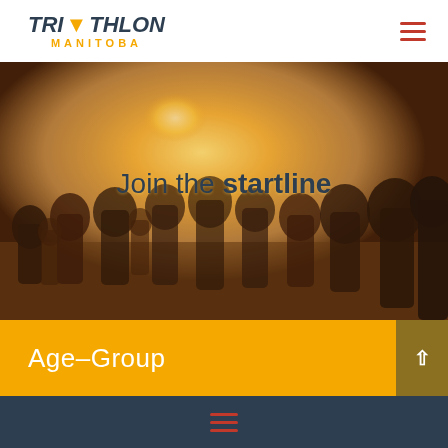[Figure (logo): Triathlon Manitoba logo with maple leaf icon, text reads TRI (maple leaf) THLON MANITOBA in dark navy and gold/yellow colors]
[Figure (photo): Hero image of a large group of triathletes in wetsuits standing at a start line on a beach, backlit by warm golden sunlight]
Join the startline
Age-Group
[Figure (other): Dark navy footer bar with three red horizontal lines (hamburger menu icon) centered]